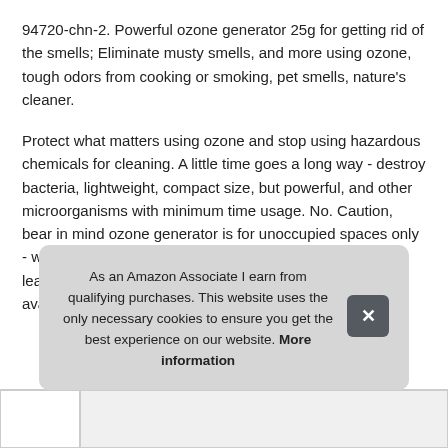94720-chn-2. Powerful ozone generator 25g for getting rid of the smells; Eliminate musty smells, and more using ozone, tough odors from cooking or smoking, pet smells, nature's cleaner.
Protect what matters using ozone and stop using hazardous chemicals for cleaning. A little time goes a long way - destroy bacteria, lightweight, compact size, but powerful, and other microorganisms with minimum time usage. No. Caution, bear in mind ozone generator is for unoccupied spaces only - wait 30 mins after the timer ends before entering. Don't leave your pets or plants in that space; This product is not available for sale in California; EPA Est.
As an Amazon Associate I earn from qualifying purchases. This website uses the only necessary cookies to ensure you get the best experience on our website. More information